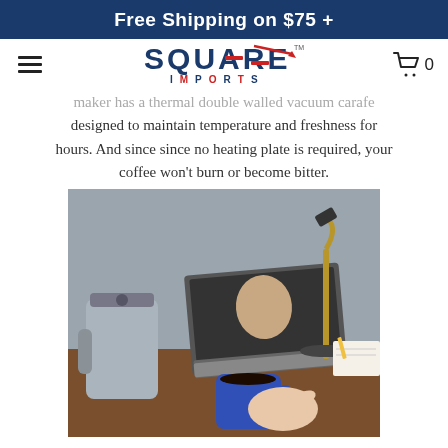Free Shipping on $75 +
[Figure (logo): Square Imports logo with navigation bar including hamburger menu and shopping cart icon showing 0 items]
maker has a thermal double walled vacuum carafe designed to maintain temperature and freshness for hours. And since since no heating plate is required, your coffee won't burn or become bitter.
[Figure (photo): A stainless steel thermal coffee carafe on a wooden desk next to a laptop showing a video call and a blue coffee mug being held by a person's hand. A gold desk lamp is visible in the background.]